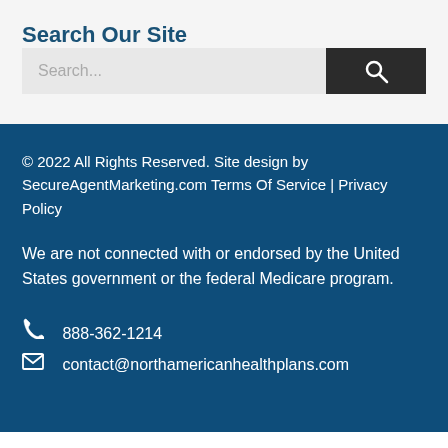Search Our Site
© 2022 All Rights Reserved. Site design by SecureAgentMarketing.com Terms Of Service | Privacy Policy
We are not connected with or endorsed by the United States government or the federal Medicare program.
888-362-1214
contact@northamericanhealthplans.com